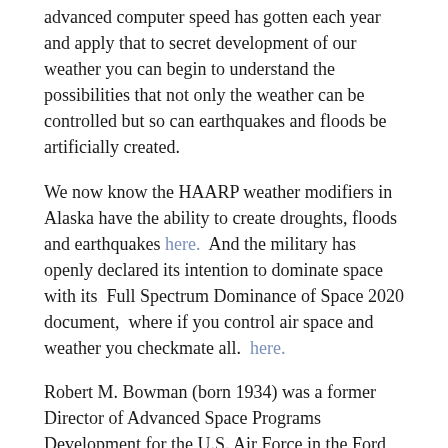advanced computer speed has gotten each year and apply that to secret development of our weather you can begin to understand the possibilities that not only the weather can be controlled but so can earthquakes and floods be artificially created.
We now know the HAARP weather modifiers in Alaska have the ability to create droughts, floods and earthquakes here.  And the military has openly declared its intention to dominate space with its  Full Spectrum Dominance of Space 2020 document,  where if you control air space and weather you checkmate all.  here.
Robert M. Bowman (born 1934) was a former Director of Advanced Space Programs Development for the U.S. Air Force in the Ford and Carter administrations, and a former United States Air Force Lieutenant Colonel with 101 combat missions.